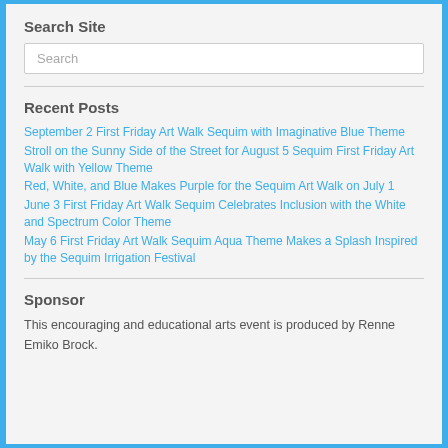Search Site
Search
Recent Posts
September 2 First Friday Art Walk Sequim with Imaginative Blue Theme
Stroll on the Sunny Side of the Street for August 5 Sequim First Friday Art Walk with Yellow Theme
Red, White, and Blue Makes Purple for the Sequim Art Walk on July 1
June 3 First Friday Art Walk Sequim Celebrates Inclusion with the White and Spectrum Color Theme
May 6 First Friday Art Walk Sequim Aqua Theme Makes a Splash Inspired by the Sequim Irrigation Festival
Sponsor
This encouraging and educational arts event is produced by Renne Emiko Brock.